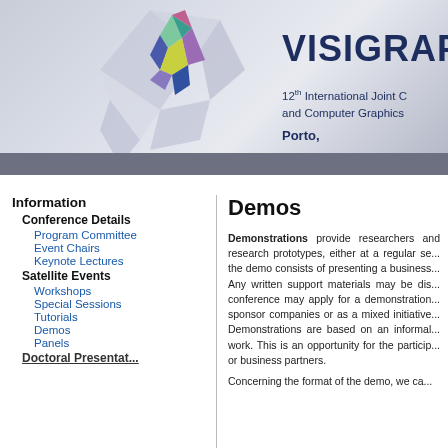[Figure (illustration): VISIGRAPP conference header banner with geometric diamond logo and title text. Shows '12th International Joint C... and Computer Graphics...' and 'Porto,' text on right side with colorful geometric diamond shape on left.]
Information
Conference Details
Program Committee
Event Chairs
Keynote Lectures
Satellite Events
Workshops
Special Sessions
Tutorials
Demos
Panels
Demos
Demonstrations provide researchers and... research prototypes, either at a regular se... the demo consists of presenting a business... Any written support materials may be dis... conference may apply for a demonstration... sponsor companies or as a mixed initiative... Demonstrations are based on an informal... work. This is an opportunity for the particip... or business partners.
Concerning the format of the demo, we ca...